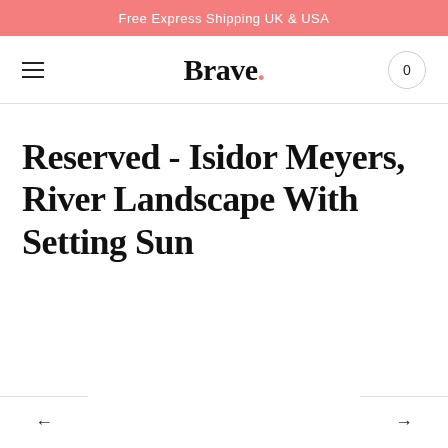Free Express Shipping UK & USA
Brave. 0
Reserved - Isidor Meyers, River Landscape With Setting Sun